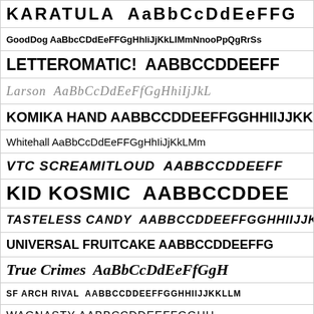[Figure (illustration): Font specimen showcase showing various decorative and handwritten font styles, each in a bordered row displaying the font name followed by alphabet sample letters.]
KARATULA AaBbCcDdEeFFG
GoodDog AaBbcCDdEeFFGgHhIiJjKkLIMmNnooPpQgRrSs
LETTEROMATIC! AABBCCDDEEFF
Larson AaBbCcDdEeFfGgHhiIjJkL
KOMIKA HAND AABBCCDDEEFFGGHHIIJJKK
Whitehall AaBbCcDdEeFFGgHhIiJjKkLMm
VTC SCREAMITLOUD AABBCCDDEEFF
KID KOSMIC AABBCCDDEE
TASTELESS CANDY AABBCCDDEEFFGGHHIIJJKKNLL
UNIVERSAL FRUITCAKE AABBCCDDEEFFG
True Crimes AaBbCcDdEeFfGgH
SF ARCH RIVAL AABBCCDDEEFFGGHHIIJJKKLLM
WAGNASTY AABBCCDDEEFFGGHH